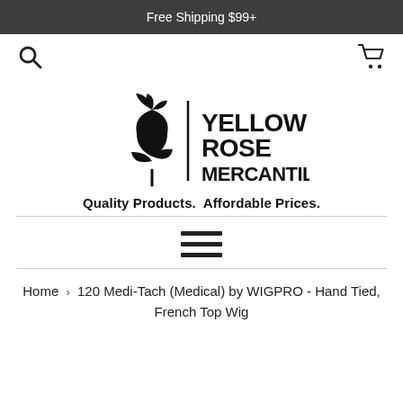Free Shipping $99+
[Figure (logo): Yellow Rose Mercantile logo with rose flower icon and vertical bar divider, bold uppercase text YELLOW ROSE MERCANTILE]
Quality Products.  Affordable Prices.
[Figure (other): Hamburger menu icon with three horizontal bars]
Home › 120 Medi-Tach (Medical) by WIGPRO - Hand Tied, French Top Wig